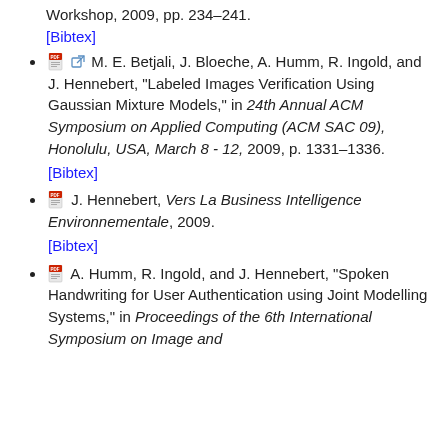Workshop, 2009, pp. 234–241. [Bibtex]
M. E. Betjali, J. Bloeche, A. Humm, R. Ingold, and J. Hennebert, "Labeled Images Verification Using Gaussian Mixture Models," in 24th Annual ACM Symposium on Applied Computing (ACM SAC 09), Honolulu, USA, March 8 - 12, 2009, p. 1331–1336. [Bibtex]
J. Hennebert, Vers La Business Intelligence Environnementale, 2009. [Bibtex]
A. Humm, R. Ingold, and J. Hennebert, "Spoken Handwriting for User Authentication using Joint Modelling Systems," in Proceedings of the 6th International Symposium on Image and